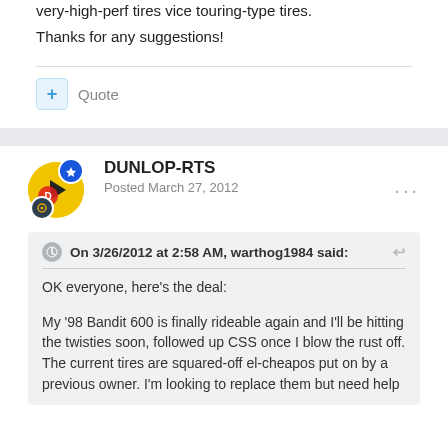very-high-perf tires vice touring-type tires.
Thanks for any suggestions!
Quote
DUNLOP-RTS
Posted March 27, 2012
On 3/26/2012 at 2:58 AM, warthog1984 said:
OK everyone, here's the deal:


My '98 Bandit 600 is finally rideable again and I'll be hitting the twisties soon, followed up CSS once I blow the rust off. The current tires are squared-off el-cheapos put on by a previous owner. I'm looking to replace them but need help